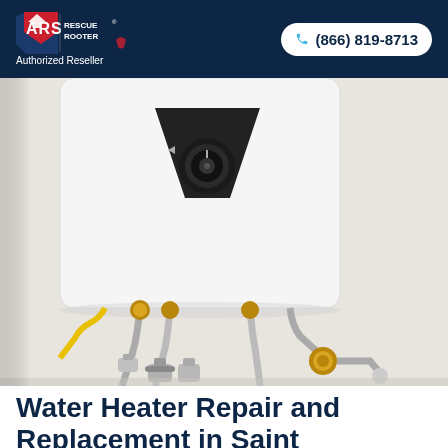ARS Rescue Rooter | Authorized Reseller | (866) 819-8713
[Figure (photo): Tankless water heater mounted on a wall with copper and stainless steel pipe fittings and valves connected at the bottom]
Water Heater Repair and Replacement in Saint Petersburg